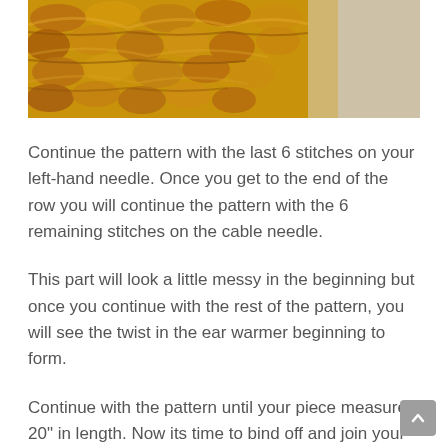[Figure (photo): Close-up photo of chunky mustard/golden yellow knitted or crocheted yarn fabric showing cable stitch texture against a light grey background]
Continue the pattern with the last 6 stitches on your left-hand needle. Once you get to the end of the row you will continue the pattern with the 6 remaining stitches on the cable needle.
This part will look a little messy in the beginning but once you continue with the rest of the pattern, you will see the twist in the ear warmer beginning to form.
Continue with the pattern until your piece measures 20" in length. Now its time to bind off and join your